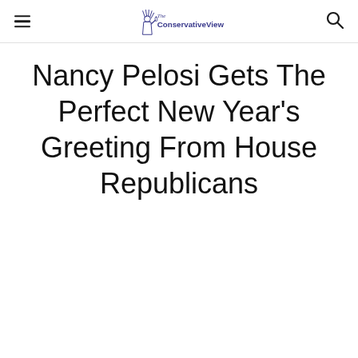The ConservativeView
Nancy Pelosi Gets The Perfect New Year's Greeting From House Republicans